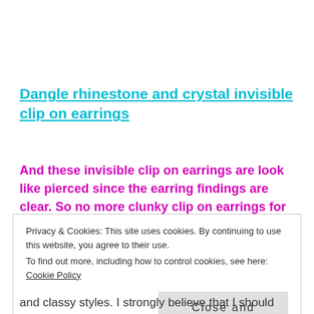Dangle rhinestone and crystal invisible clip on earrings
And these invisible clip on earrings are look like pierced since the earring findings are clear. So no more clunky clip on earrings for you.
Privacy & Cookies: This site uses cookies. By continuing to use this website, you agree to their use.
To find out more, including how to control cookies, see here: Cookie Policy
and classy styles. I strongly believe that I should